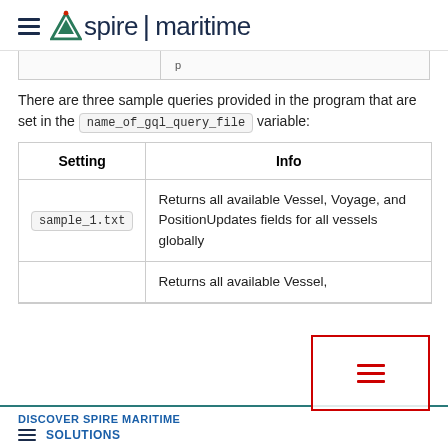Aspire | maritime
There are three sample queries provided in the program that are set in the name_of_gql_query_file variable:
| Setting | Info |
| --- | --- |
| sample_1.txt | Returns all available Vessel, Voyage, and PositionUpdates fields for all vessels globally |
|  | Returns all available Vessel, |
DISCOVER SPIRE MARITIME SOLUTIONS